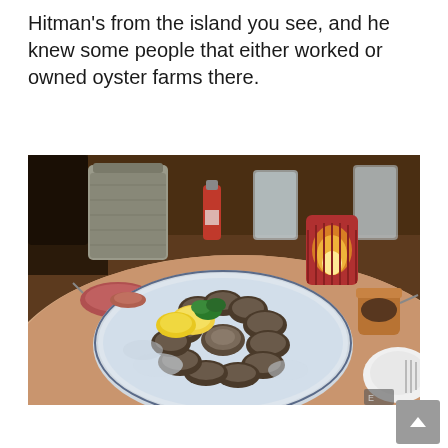Hitman's from the island you see, and he knew some people that either worked or owned oyster farms there.
[Figure (photo): A restaurant table with a large platter of fresh oysters on ice, garnished with lemon wedges and parsley. On the table also visible are a galvanized metal bucket, glasses of water, a small red candle holder glowing warmly, hot sauce bottles, dipping sauces, and a white plate with fork in the corner. Warm ambient restaurant lighting.]